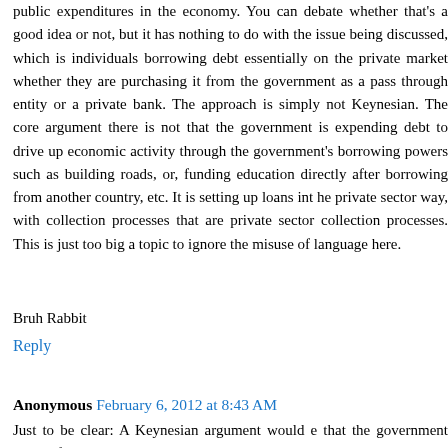public expenditures in the economy. You can debate whether that's a good idea or not, but it has nothing to do with the issue being discussed, which is individuals borrowing debt essentially on the private market whether they are purchasing it from the government as a pass through entity or a private bank. The approach is simply not Keynesian. The core argument there is not that the government is expending debt to drive up economic activity through the government's borrowing powers such as building roads, or, funding education directly after borrowing from another country, etc. It is setting up loans int he private sector way, with collection processes that are private sector collection processes. This is just too big a topic to ignore the misuse of language here.
Bruh Rabbit
Reply
Anonymous February 6, 2012 at 8:43 AM
Just to be clear: A Keynesian argument would e that the government should forgive the student loan debt to